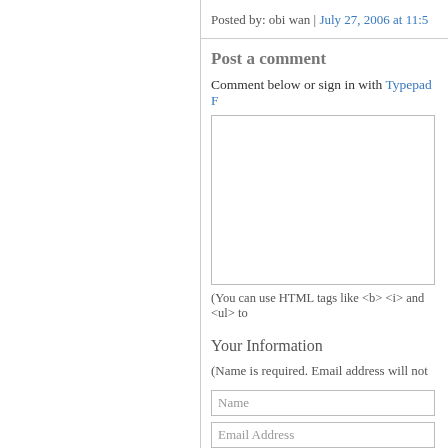Posted by: obi wan | July 27, 2006 at 11:5
Post a comment
Comment below or sign in with Typepad F...
(You can use HTML tags like <b> <i> and <ul> to...
Your Information
(Name is required. Email address will not...
Name
Email Address
Web Site URL